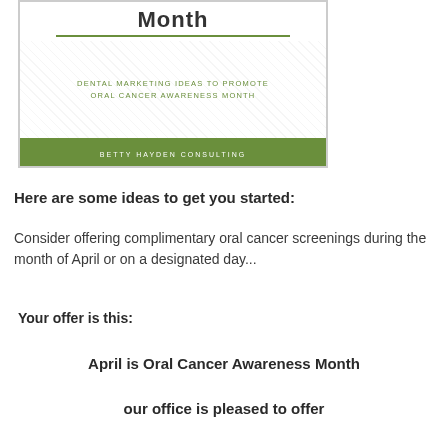[Figure (illustration): Promotional banner for Betty Hayden Consulting showing 'Month' heading with a rule line, subtitle 'DENTAL MARKETING IDEAS TO PROMOTE ORAL CANCER AWARENESS MONTH' on a crosshatch background, and a green footer bar reading 'BETTY HAYDEN CONSULTING']
Here are some ideas to get you started:
Consider offering complimentary oral cancer screenings during the month of April or on a designated day...
Your offer is this:
April is Oral Cancer Awareness Month
our office is pleased to offer